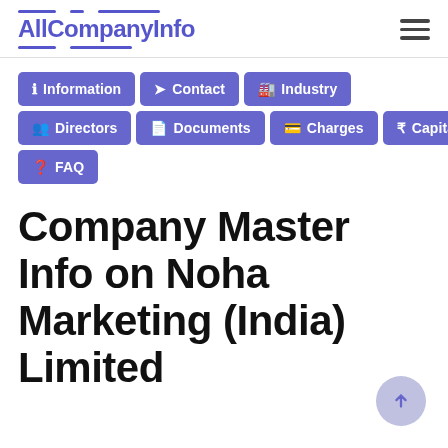AllCompanyInfo
Information
Contact
Industry
Directors
Documents
Charges
Capital
FAQ
Company Master Info on Noha Marketing (India) Limited